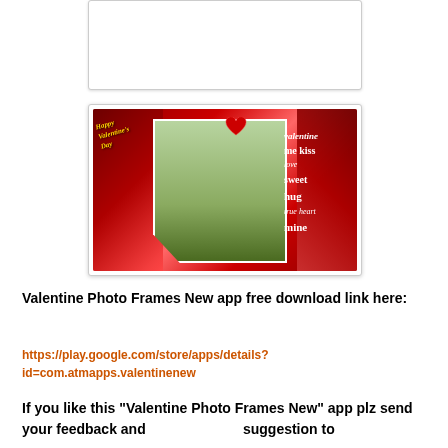[Figure (photo): A card-like image placeholder at top center — white box with light border]
[Figure (photo): Valentine's Day photo frame app screenshot showing a couple kissing, surrounded by red roses, hearts, and romantic text overlay including 'Happy Valentine's Day', 'kiss', 'love', 'hug', 'mine', 'heart', 'true', 'sweet', 'me']
Valentine Photo Frames New app free download link here:
https://play.google.com/store/apps/details?id=com.atmapps.valentinenew
If you like this "Valentine Photo Frames New" app plz send your feedback and                                                      suggestion to